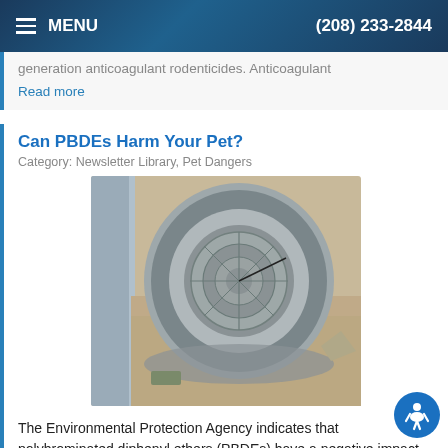MENU | (208) 233-2844
generation anticoagulant rodenticides. Anticoagulant
Read more
Can PBDEs Harm Your Pet?
Category: Newsletter Library, Pet Dangers
[Figure (photo): Overhead view of a gray cylindrical pest control bait station or drain cap with a circular grate, placed in sandy/dusty ground near a pipe or wall.]
The Environmental Protection Agency indicates that polybrominated diphenyl ethers (PBDEs) have a negative impact on your health and environment. These chemicals in your home environment may be causing harm to your pet without your knowledge. In the b PBDEs are found in breast milk, blood and the
Read more